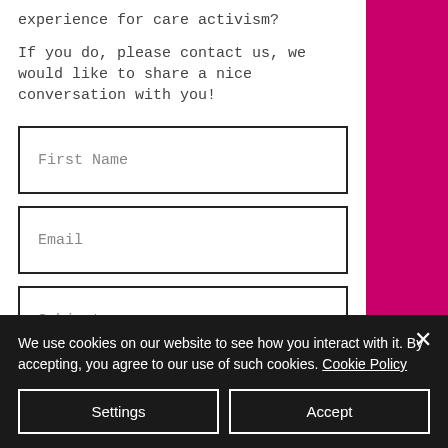experience for care activism?
If you do, please contact us, we would like to share a nice conversation with you!
First Name
Email
Subject
We use cookies on our website to see how you interact with it. By accepting, you agree to our use of such cookies. Cookie Policy
Settings
Accept